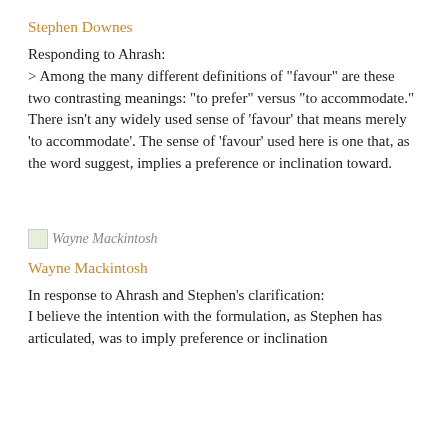Stephen Downes
Responding to Ahrash:
> Among the many different definitions of "favour" are these two contrasting meanings: "to prefer" versus "to accommodate."
There isn't any widely used sense of 'favour' that means merely 'to accommodate'. The sense of 'favour' used here is one that, as the word suggest, implies a preference or inclination toward.
[Figure (photo): Small avatar image for Wayne Mackintosh with broken image indicator and label text]
Wayne Mackintosh
In response to Ahrash and Stephen's clarification:
I believe the intention with the formulation, as Stephen has articulated, was to imply preference or inclination